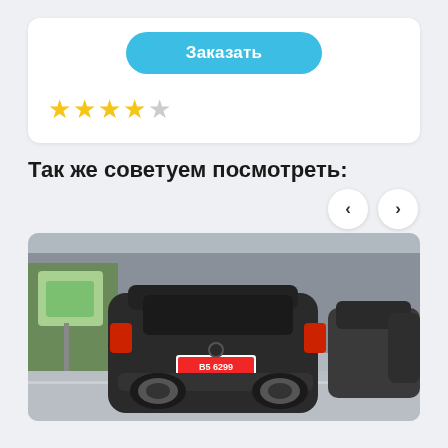[Figure (other): Order button (Заказать) inside a white card with rounded corners]
[Figure (other): 4 out of 5 star rating (4 yellow stars, 1 grey star)]
Так же советуем посмотреть:
[Figure (other): Navigation left and right arrow buttons]
[Figure (photo): Photo of a dark grey/black Nissan Juke SUV parked on a city street, rear view, with other cars parked behind it]